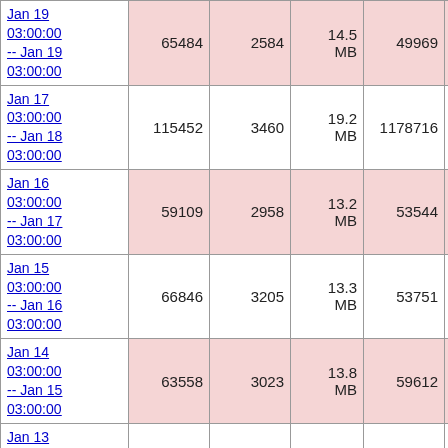| Date Range | Col2 | Col3 | Col4 | Col5 | Col6 | Col7 |
| --- | --- | --- | --- | --- | --- | --- |
| Jan 19 03:00:00 -- Jan 19 03:00:00 | 65484 | 2584 | 14.5 MB | 49969 | 8999 |  |
| Jan 17 03:00:00 -- Jan 18 03:00:00 | 115452 | 3460 | 19.2 MB | 1178716 | 11557 | 89 |
| Jan 16 03:00:00 -- Jan 17 03:00:00 | 59109 | 2958 | 13.2 MB | 53544 | 9647 | 0 |
| Jan 15 03:00:00 -- Jan 16 03:00:00 | 66846 | 3205 | 13.3 MB | 53751 | 10060 | 5 |
| Jan 14 03:00:00 -- Jan 15 03:00:00 | 63558 | 3023 | 13.8 MB | 59612 | 10047 | 5 |
| Jan 13 03:00:00 -- Jan 14 03:00:00 | 83521 | 3586 | 13.0 MB | 56837 | 10895 | 5 |
| Jan 12 |  |  |  |  |  |  |